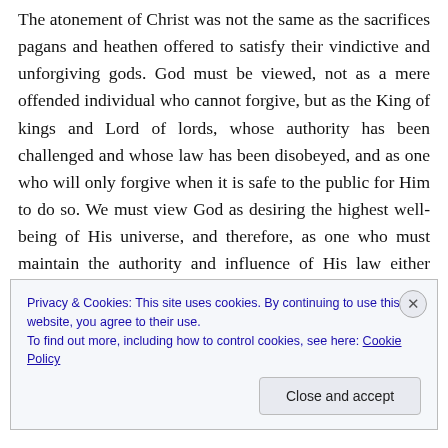The atonement of Christ was not the same as the sacrifices pagans and heathen offered to satisfy their vindictive and unforgiving gods. God must be viewed, not as a mere offended individual who cannot forgive, but as the King of kings and Lord of lords, whose authority has been challenged and whose law has been disobeyed, and as one who will only forgive when it is safe to the public for Him to do so. We must view God as desiring the highest well-being of His universe, and therefore, as one who must maintain the authority and influence of His law either through the execution of the penalty upon the guilty or
Privacy & Cookies: This site uses cookies. By continuing to use this website, you agree to their use.
To find out more, including how to control cookies, see here: Cookie Policy